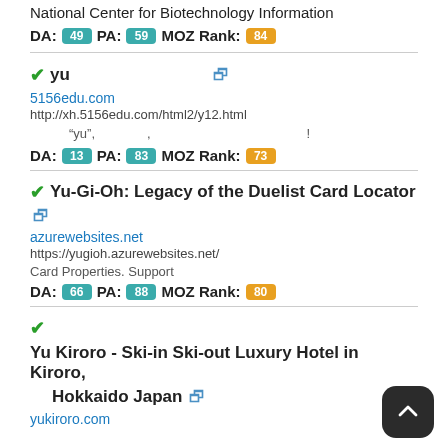National Center for Biotechnology Information
DA: 49  PA: 59  MOZ Rank: 84
yu【学优网】
5156edu.com
http://xh.5156edu.com/html2/y12.html
学优网"yu",汉字查询,在线字典,汉字笔顺,五笔字根表!汉字大全,汉字转拼音!
DA: 13  PA: 83  MOZ Rank: 73
Yu-Gi-Oh: Legacy of the Duelist Card Locator
azurewebsites.net
https://yugioh.azurewebsites.net/
Card Properties. Support
DA: 66  PA: 88  MOZ Rank: 80
Yu Kiroro - Ski-in Ski-out Luxury Hotel in Kiroro, Hokkaido Japan